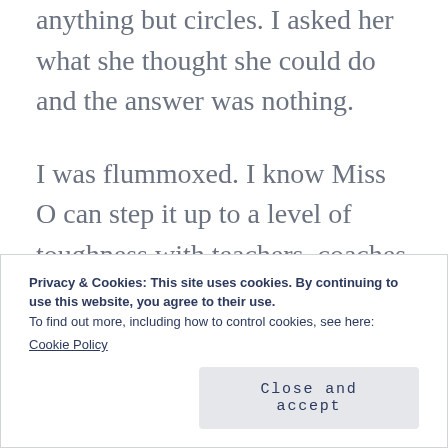anything but circles. I asked her what she thought she could do and the answer was nothing.
I was flummoxed. I know Miss O can step it up to a level of toughness with teachers, coaches and other family members. She has been going to a different camp every week of the summer and when she’s nervous she takes a deep breath and says,
Privacy & Cookies: This site uses cookies. By continuing to use this website, you agree to their use.
To find out more, including how to control cookies, see here:
Cookie Policy
Close and accept